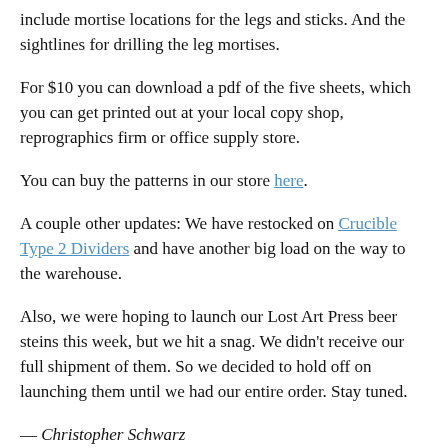include mortise locations for the legs and sticks. And the sightlines for drilling the leg mortises.
For $10 you can download a pdf of the five sheets, which you can get printed out at your local copy shop, reprographics firm or office supply store.
You can buy the patterns in our store here.
A couple other updates: We have restocked on Crucible Type 2 Dividers and have another big load on the way to the warehouse.
Also, we were hoping to launch our Lost Art Press beer steins this week, but we hit a snag. We didn't receive our full shipment of them. So we decided to hold off on launching them until we had our entire order. Stay tuned.
— Christopher Schwarz
[Figure (photo): Partial view of a wooden surface with tools, bottom of page]